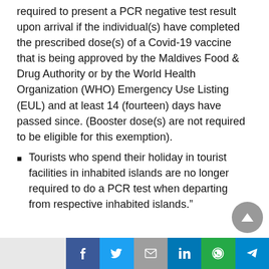required to present a PCR negative test result upon arrival if the individual(s) have completed the prescribed dose(s) of a Covid-19 vaccine that is being approved by the Maldives Food & Drug Authority or by the World Health Organization (WHO) Emergency Use Listing (EUL) and at least 14 (fourteen) days have passed since. (Booster dose(s) are not required to be eligible for this exemption).
Tourists who spend their holiday in tourist facilities in inhabited islands are no longer required to do a PCR test when departing from respective inhabited islands."